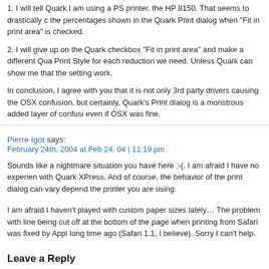1. I will tell Quark I am using a PS printer, the HP 8150. That seems to drastically change the percentages shown in the Quark Print dialog when "Fit in print area" is checked.
2. I will give up on the Quark checkbox "Fit in print area" and make a different Quark Print Style for each reduction we need. Unless Quark can show me that the settings work.
In conclusion, I agree with you that it is not only 3rd party drivers causing the OSX confusion, but certainly, Quark's Print dialog is a monstrous added layer of confusion even if OSX was fine.
Pierre Igot says:
February 24th, 2004 at Feb 24, 04 | 11:19 pm
Sounds like a nightmare situation you have here :-(. I am afraid I have no experience with Quark XPress. And of course, the behavior of the print dialog can vary depending on the printer you are using.
I am afraid I haven't played with custom paper sizes lately… The problem with lines being cut off at the bottom of the page when printing from Safari was fixed by Apple a long time ago (Safari 1.1, I believe). Sorry I can't help.
Leave a Reply
Comments are closed.